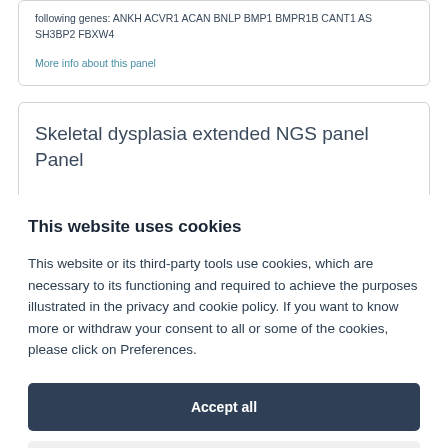following genes: ANKH ACVR1 ACAN BNLP BMP1 BMPR1B CANT1 AS SH3BP2 FBXW4
More info about this panel
Skeletal dysplasia extended NGS panel Panel
This website uses cookies
This website or its third-party tools use cookies, which are necessary to its functioning and required to achieve the purposes illustrated in the privacy and cookie policy. If you want to know more or withdraw your consent to all or some of the cookies, please click on Preferences.
Accept all
Preferences